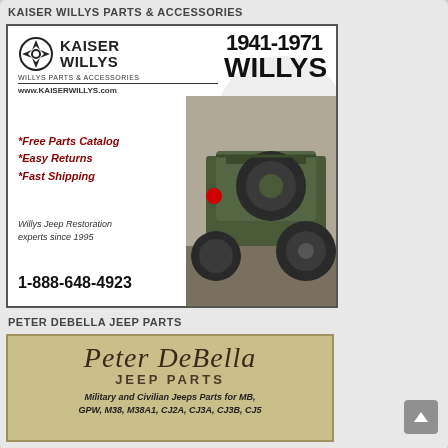KAISER WILLYS PARTS & ACCESSORIES
[Figure (illustration): Kaiser Willys advertisement with logo, 1941-1971 Willys text, red italic bullet points for Free Parts Catalog, Easy Returns, Fast Shipping, slogan 'Willys Jeep Restoration experts since 1995', phone number 1-888-648-4923, and photo of a military green Willys Jeep from rear angle]
PETER DEBELLA JEEP PARTS
[Figure (illustration): Peter DeBella Jeep Parts advertisement with cursive logo text, subtitle JEEP PARTS, and text reading 'Military and Civilian Jeeps Parts for MB, GPW, M38, M38A1, CJ2A, CJ3A, CJ3B, CJ5']